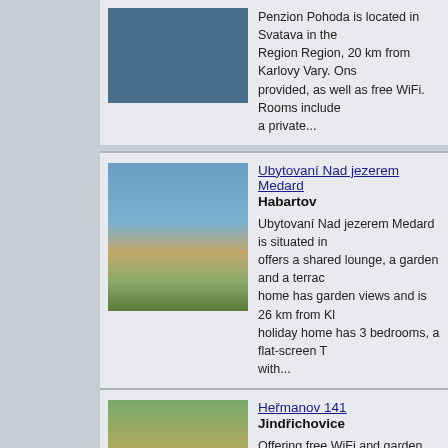[Figure (photo): Blue building exterior photo (partial, top of card)]
Penzion Pohoda is located in Svatava in the Region Region, 20 km from Karlovy Vary. Ons provided, as well as free WiFi. Rooms include a private...
[Figure (photo): Lake with dirt road and horses, green hills in background]
Ubytovaní Nad jezerem Medard
Habartov
Ubytovaní Nad jezerem Medard is situated in offers a shared lounge, a garden and a terrac home has garden views and is 26 km from Kl holiday home has 3 bedrooms, a flat-screen T with...
[Figure (photo): Rural house with autumn trees and green lawn]
Heřmanov 141
Jindřichovice
Offering free WiFi and garden views, Heřman accommodation situated in Jindřichovice. Gue this villa have access to a fully equipped kitch This 4-bedroom villa includes 2 bathrooms fitt
[Figure (photo): Forest with pine trees and light sky]
Chalupa Sport
Šindelová,sindelova